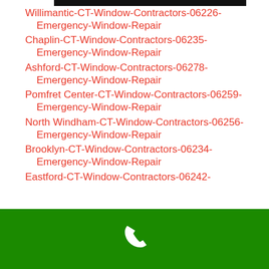Willimantic-CT-Window-Contractors-06226-Emergency-Window-Repair
Chaplin-CT-Window-Contractors-06235-Emergency-Window-Repair
Ashford-CT-Window-Contractors-06278-Emergency-Window-Repair
Pomfret Center-CT-Window-Contractors-06259-Emergency-Window-Repair
North Windham-CT-Window-Contractors-06256-Emergency-Window-Repair
Brooklyn-CT-Window-Contractors-06234-Emergency-Window-Repair
Eastford-CT-Window-Contractors-06242-
[Figure (other): Green footer bar with white phone icon]